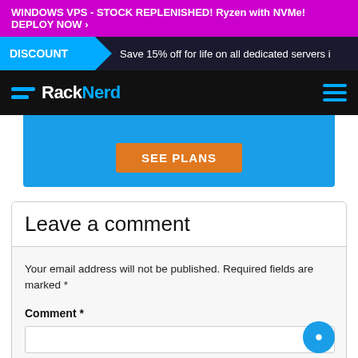WINDOWS VPS - STOCK REPLENISHED! Ryzen with NVMe! DEPLOY NOW ›
DISCOUNT  Save 15% off for life on all dedicated servers i
[Figure (logo): RackNerd logo with hamburger menu on dark navbar]
[Figure (screenshot): Blue promo banner section with SEE PLANS orange button]
Leave a comment
Your email address will not be published. Required fields are marked *
Comment *